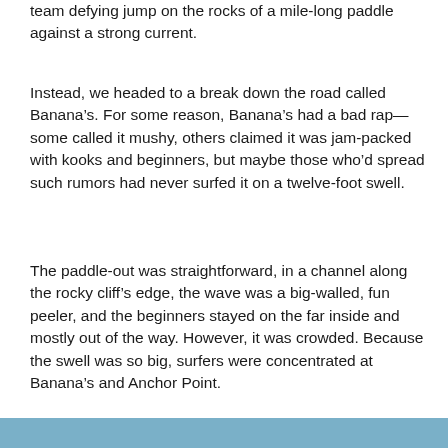team defying jump on the rocks of a mile-long paddle against a strong current.
Instead, we headed to a break down the road called Banana’s. For some reason, Banana’s had a bad rap—some called it mushy, others claimed it was jam-packed with kooks and beginners, but maybe those who’d spread such rumors had never surfed it on a twelve-foot swell.
The paddle-out was straightforward, in a channel along the rocky cliff’s edge, the wave was a big-walled, fun peeler, and the beginners stayed on the far inside and mostly out of the way. However, it was crowded. Because the swell was so big, surfers were concentrated at Banana’s and Anchor Point.
[Figure (photo): Bottom strip of a blue-toned water/ocean photograph]